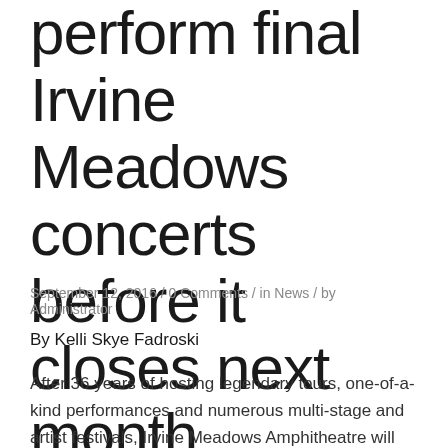perform final Irvine Meadows concerts before it closes next month
September 12, 2016 / 0 Comments / in News / by Administrator
By Kelli Skye Fadroski
After 36 years of hosting legendary tours, one-of-a-kind performances and numerous multi-stage and artist festivals, Irvine Meadows Amphitheatre will close for good following two evenings with Gwen Stefani on Oct. 29-30. The singer announced the shows this morning during an